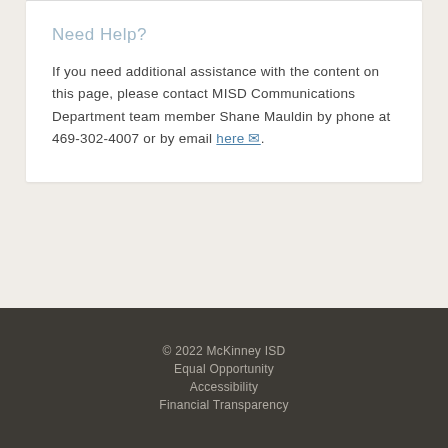Need Help?
If you need additional assistance with the content on this page, please contact MISD Communications Department team member Shane Mauldin by phone at 469-302-4007 or by email here.
© 2022 McKinney ISD
Equal Opportunity
Accessibility
Financial Transparency